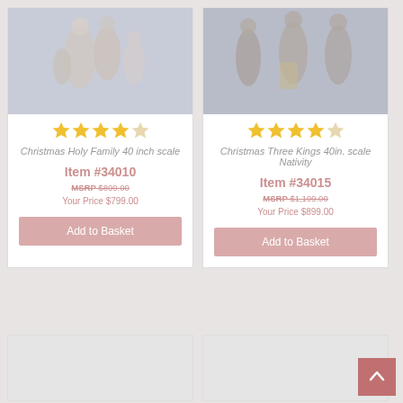[Figure (photo): Nativity figurines - Christmas Holy Family 40 inch scale product image]
Christmas Holy Family 40 inch scale
Item #34010
MSRP $899.00
Your Price $799.00
[Figure (photo): Nativity figurines - Christmas Three Kings 40in. scale Nativity product image]
Christmas Three Kings 40in. scale Nativity
Item #34015
MSRP $1,199.00
Your Price $899.00